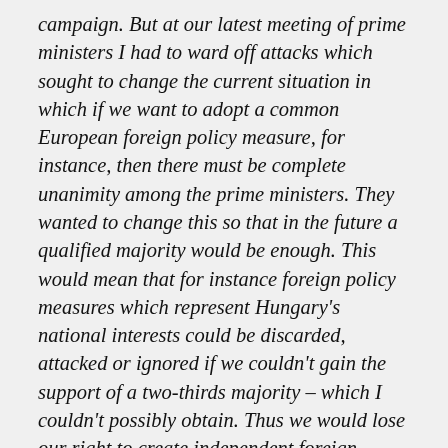campaign. But at our latest meeting of prime ministers I had to ward off attacks which sought to change the current situation in which if we want to adopt a common European foreign policy measure, for instance, then there must be complete unanimity among the prime ministers. They wanted to change this so that in the future a qualified majority would be enough. This would mean that for instance foreign policy measures which represent Hungary's national interests could be discarded, attacked or ignored if we couldn't gain the support of a two-thirds majority – which I couldn't possibly obtain. Thus we would lose our right to create independent foreign policy. The situation is the same with taxation. So Brussels sees itself as the centre of an empire, and